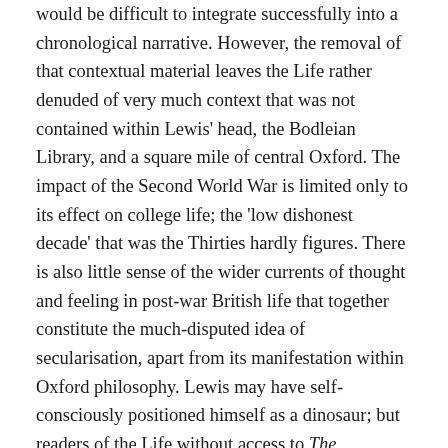would be difficult to integrate successfully into a chronological narrative. However, the removal of that contextual material leaves the Life rather denuded of very much context that was not contained within Lewis' head, the Bodleian Library, and a square mile of central Oxford. The impact of the Second World War is limited only to its effect on college life; the 'low dishonest decade' that was the Thirties hardly figures. There is also little sense of the wider currents of thought and feeling in post-war British life that together constitute the much-disputed idea of secularisation, apart from its manifestation within Oxford philosophy. Lewis may have self-consciously positioned himself as a dinosaur; but readers of the Life without access to The Intellectual World may need to know rather more about the elements of contemporary discourse with which Lewis was out of sympathy. In both volumes, McGrath correlates the